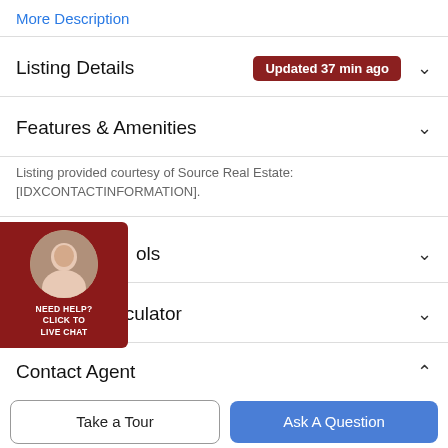More Description
Listing Details  Updated 37 min ago
Features & Amenities
Listing provided courtesy of Source Real Estate: [IDXCONTACTINFORMATION].
[Figure (photo): Live chat widget with agent photo, dark red background, text: NEED HELP? CLICK TO LIVE CHAT]
ols
Payment Calculator
Contact Agent
Take a Tour
Ask A Question